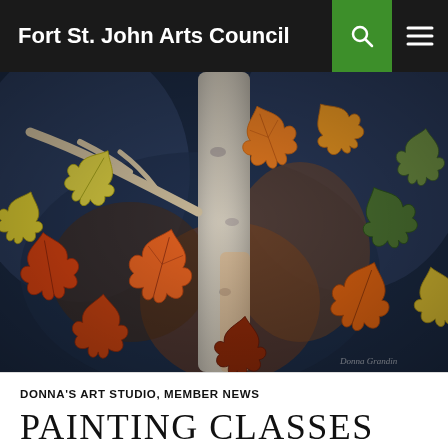Fort St. John Arts Council
[Figure (illustration): Watercolor painting of autumn maple leaves in orange, yellow, green, and red attached to branches against a dark blue and brown background, with a birch tree trunk in the center.]
DONNA'S ART STUDIO, MEMBER NEWS
PAINTING CLASSES AT